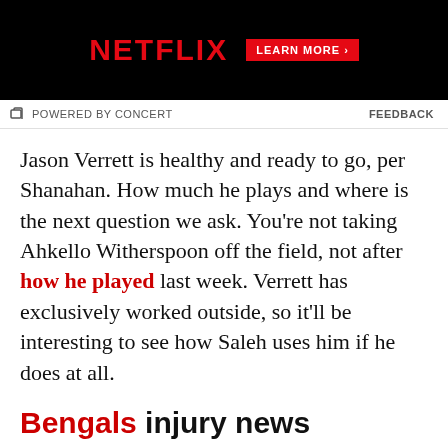[Figure (other): Netflix advertisement banner with red Netflix logo and 'LEARN MORE ›' button on black background]
POWERED BY CONCERT   FEEDBACK
Jason Verrett is healthy and ready to go, per Shanahan. How much he plays and where is the next question we ask. You're not taking Ahkello Witherspoon off the field, not after how he played last week. Verrett has exclusively worked outside, so it'll be interesting to see how Saleh uses him if he does at all.
Bengals injury news
Questionable:
RB Joe Mixon
RB Trayveon Williams
S Clayton Fejedelem